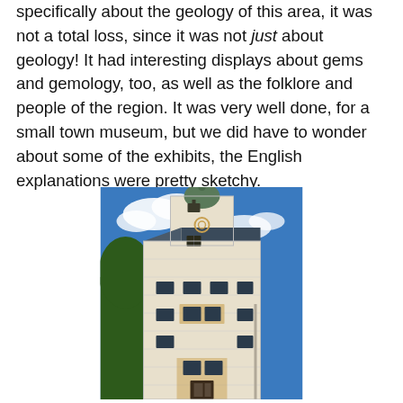specifically about the geology of this area, it was not a total loss, since it was not just about geology! It had interesting displays about gems and gemology, too, as well as the folklore and people of the region. It was very well done, for a small town museum, but we did have to wonder about some of the exhibits, the English explanations were pretty sketchy.
[Figure (photo): Exterior photograph of a multi-story historic building with a tower topped by a dome, light-colored stone facade with multiple windows, blue sky with white clouds in background, trees visible on left.]